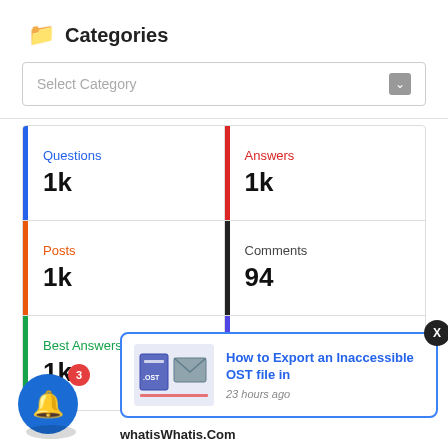Categories
Select Category
| Stat | Value |
| --- | --- |
| Questions | 1k |
| Answers | 1k |
| Posts | 1k |
| Comments | 94 |
| Best Answers | 1k |
| Users |  |
[Figure (screenshot): Popup card: How to Export an Inaccessible OST file in - 23 hours ago]
whatisWhatis.Com